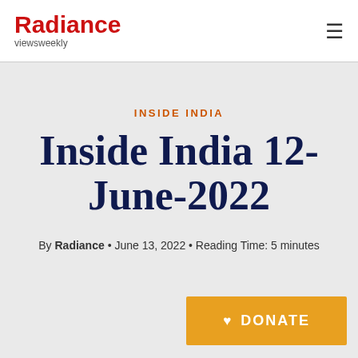Radiance viewsweekly
INSIDE INDIA
Inside India 12-June-2022
By Radiance • June 13, 2022 • Reading Time: 5 minutes
♥ DONATE